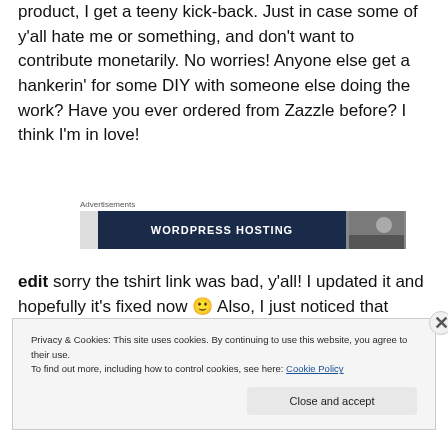product, I get a teeny kick-back. Just in case some of y'all hate me or something, and don't want to contribute monetarily. No worries! Anyone else get a hankerin' for some DIY with someone else doing the work? Have you ever ordered from Zazzle before? I think I'm in love!
[Figure (screenshot): Advertisements banner showing WordPress Hosting advertisement with dark blue background]
edit sorry the tshirt link was bad, y'all! I updated it and hopefully it's fixed now 🙂 Also, I just noticed that
Privacy & Cookies: This site uses cookies. By continuing to use this website, you agree to their use. To find out more, including how to control cookies, see here: Cookie Policy. Close and accept